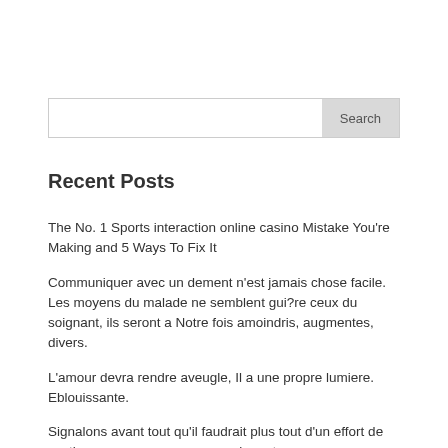[Figure (other): Search input box with Search button]
Recent Posts
The No. 1 Sports interaction online casino Mistake You're Making and 5 Ways To Fix It
Communiquer avec un dement n'est jamais chose facile. Les moyens du malade ne semblent gui?re ceux du soignant, ils seront a Notre fois amoindris, augmentes, divers.
L'amour devra rendre aveugle, Il a une propre lumiere. Eblouissante.
Signalons avant tout qu'il faudrait plus tout d'un effort de synthese pour resumer en peu de mots ses